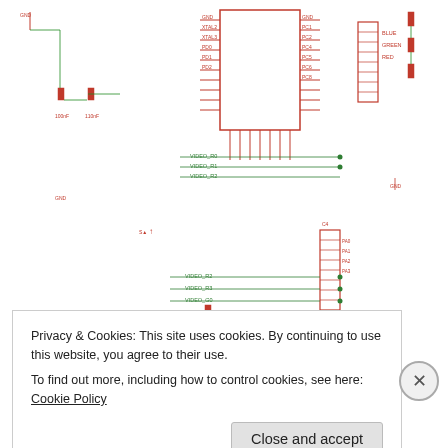[Figure (circuit-diagram): Partial circuit schematic showing a microcontroller (red outline IC) connected to various components including capacitors, resistors, and connector headers. Green signal lines labeled VIDEO_R0 through VIDEO_G4 run horizontally. Red component symbols indicate capacitors and resistors. GND labels visible at several nodes.]
See the full gallery on Posterous
Privacy & Cookies: This site uses cookies. By continuing to use this website, you agree to their use.
To find out more, including how to control cookies, see here: Cookie Policy
Close and accept